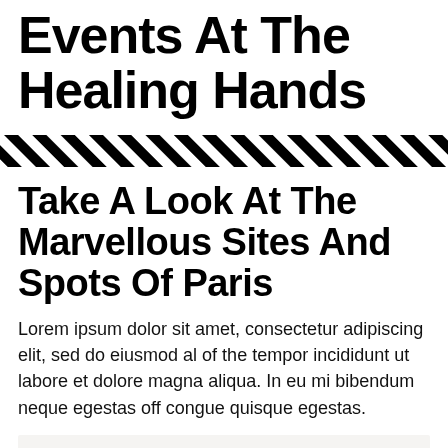Events At The Healing Hands
[Figure (illustration): Diagonal hatching stripe divider pattern in black and white]
Take A Look At The Marvellous Sites And Spots Of Paris
Lorem ipsum dolor sit amet, consectetur adipiscing elit, sed do eiusmod al of the tempor incididunt ut labore et dolore magna aliqua. In eu mi bibendum neque egestas off congue quisque egestas.
[Figure (photo): Light gray image placeholder area at bottom of page]